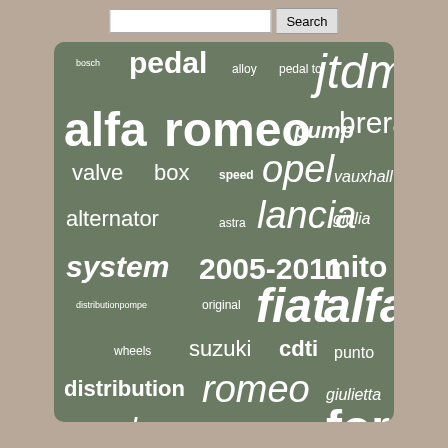[Figure (infographic): Word cloud / tag cloud for automotive parts and brands, displayed on a dark green-grey rounded rectangle background. Words include: bosch, pedal, alloy, pedal to, jtdm, alfa romeo, pump, brera, valve, box, speed, opel, vauxhall, alternator, astra, lancia, giulia, system, 2005-2011, mito, distributionpompe, original, fiat, alfa, wheels, suzuki, cdti, punto, distribution, romeo, giulietta, saab, chevrolet, contitech, for]
Search